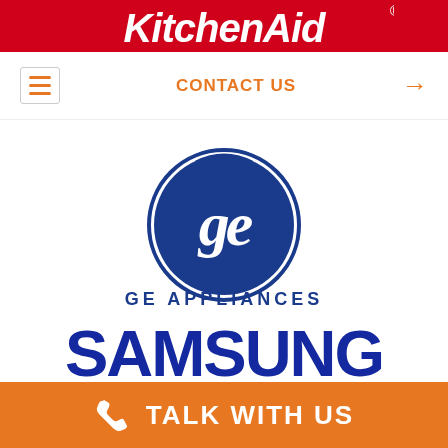[Figure (logo): KitchenAid logo on red banner background, white italic bold text]
CONTACT US →
[Figure (logo): GE Appliances circular logo in blue with GE monogram, text GE APPLIANCES below]
[Figure (logo): Samsung logo in bold dark blue text]
[Figure (logo): Sub-Zero logo partial view, silver metallic embossed text on banner]
TALK WITH US